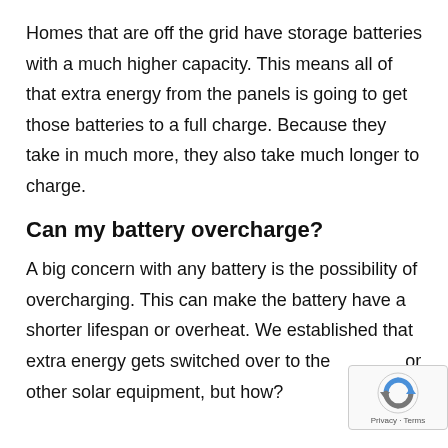Homes that are off the grid have storage batteries with a much higher capacity. This means all of that extra energy from the panels is going to get those batteries to a full charge. Because they take in much more, they also take much longer to charge.
Can my battery overcharge?
A big concern with any battery is the possibility of overcharging. This can make the battery have a shorter lifespan or overheat. We established that extra energy gets switched over to the or other solar equipment, but how?